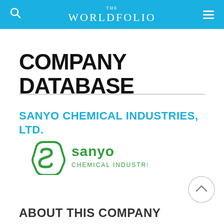THE WORLDFOLIO
COMPANY DATABASE
SANYO CHEMICAL INDUSTRIES, LTD.
[Figure (logo): Sanyo Chemical Industries logo — green hexagonal S emblem with 'sanyo CHEMICAL INDUSTRIES' wordmark in green]
ABOUT THIS COMPANY